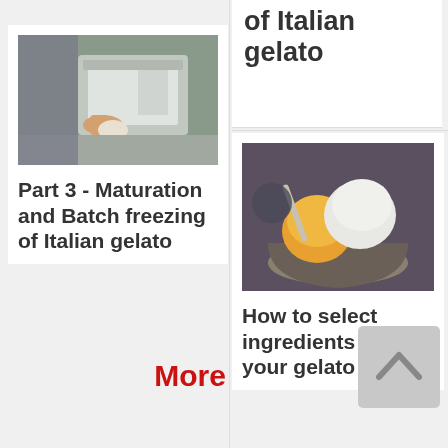of Italian gelato
[Figure (photo): Person scooping gelato from a batch freezer machine in a gelato shop]
Part 3 - Maturation and Batch freezing of Italian gelato
[Figure (photo): Close-up of gelato scoops in a bowl showing white and yellow/orange flavors]
How to select ingredients for your gelato
More
[Figure (other): Back to top arrow button (upward chevron on grey background)]